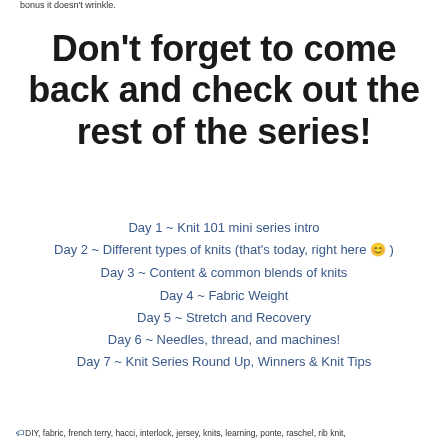bonus it doesn't wrinkle.
Don't forget to come back and check out the rest of the series!
Day 1 ~ Knit 101 mini series intro
Day 2 ~ Different types of knits (that's today, right here 🙂 )
Day 3 ~ Content & common blends of knits
Day 4 ~ Fabric Weight
Day 5 ~ Stretch and Recovery
Day 6 ~ Needles, thread, and machines!
Day 7 ~ Knit Series Round Up, Winners & Knit Tips
🏷DIY, fabric, french terry, hacci, interlock, jersey, knits, learning, ponte, raschel, rib knit,